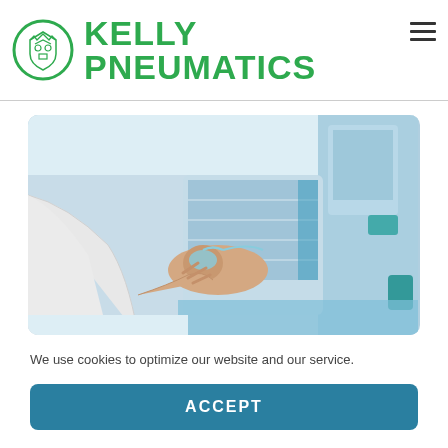KELLY PNEUMATICS
[Figure (photo): Medical scene showing a healthcare professional in white coat applying an oxygen mask or breathing apparatus to a patient lying on a bed, while another person's hand is touching a touchscreen medical monitor. Medical equipment is visible in the background.]
We use cookies to optimize our website and our service.
ACCEPT